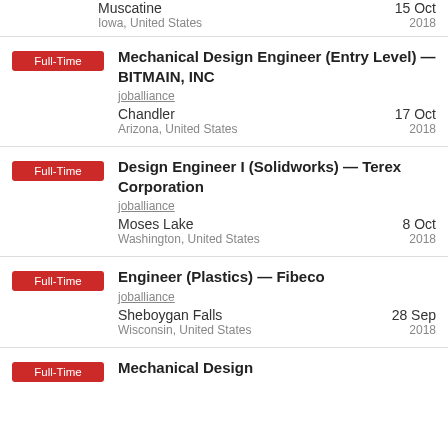Muscatine
Iowa, United States
15 Oct 2018
Full-Time | Mechanical Design Engineer (Entry Level) — BITMAIN, INC | joballiance | Chandler, Arizona, United States | 17 Oct 2018
Full-Time | Design Engineer I (Solidworks) — Terex Corporation | joballiance | Moses Lake, Washington, United States | 8 Oct 2018
Full-Time | Engineer (Plastics) — Fibeco | joballiance | Sheboygan Falls, Wisconsin, United States | 28 Sep 2018
Full-Time | Mechanical Design ...